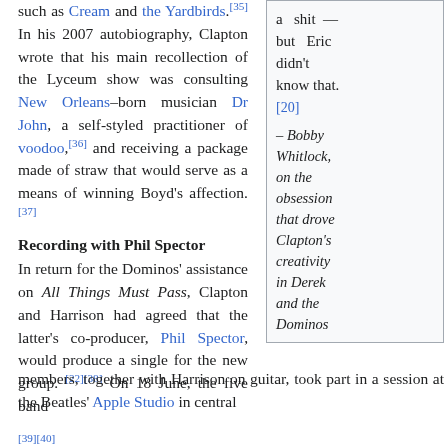such as Cream and the Yardbirds.[35] In his 2007 autobiography, Clapton wrote that his main recollection of the Lyceum show was consulting New Orleans–born musician Dr John, a self-styled practitioner of voodoo,[36] and receiving a package made of straw that would serve as a means of winning Boyd's affection.[37]
a shit — but Eric didn't know that.[20]
– Bobby Whitlock, on the obsession that drove Clapton's creativity in Derek and the Dominos
Recording with Phil Spector
In return for the Dominos' assistance on All Things Must Pass, Clapton and Harrison had agreed that the latter's co-producer, Phil Spector, would produce a single for the new group.[22][38] On 18 June, the five band members, together with Harrison on guitar, took part in a session at the Beatles' Apple Studio in central
[39][40]